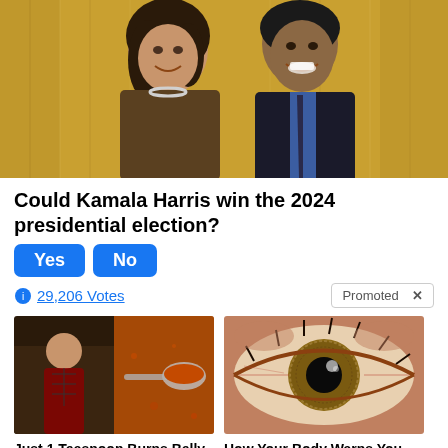[Figure (photo): Two smiling people in formal attire posing closely together in front of a golden/yellow curtain backdrop — one woman in a brown jacket with pearl necklace, one man in a dark suit with blue tie]
Could Kamala Harris win the 2024 presidential election?
Yes   No
29,206 Votes
Promoted X
[Figure (photo): Ad image: fitness/spice collage showing a muscular person and a spoon of red spice powder]
Just 1 Teaspoon Burns Belly Fat Like Crazy!
8,959
[Figure (photo): Ad image: extreme close-up of a human eye with detailed iris]
How Your Body Warns You That Dementia Is Forming
46,283